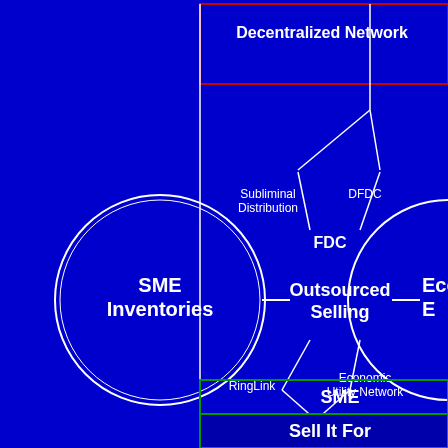[Figure (flowchart): A decentralized network diagram on a dark blue background. Shows interconnected circles and boxes. Left circle labeled 'SME Inventories', center shows 'Outsourced Selling' with connecting lines to nodes: 'Subliminal Distribution', 'DFDC', 'FDC' (above), 'RingLink', 'Economic Utility Network' (below). Right partially visible circle labeled 'Eco... E...'. Top rectangle labeled 'Decentralized Network'. Bottom rectangles labeled 'SME...' and 'Sell It For...'. Lines connect all elements in a network pattern.]